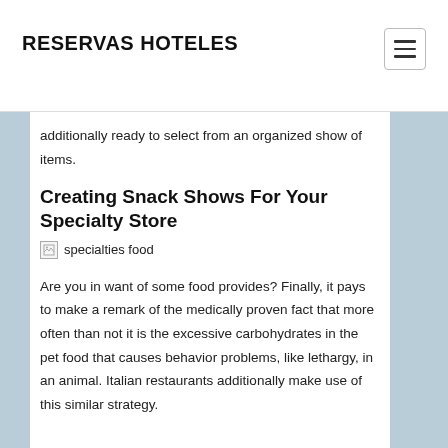RESERVAS HOTELES
additionally ready to select from an organized show of items.
Creating Snack Shows For Your Specialty Store
[Figure (other): Broken image placeholder labeled 'specialties food']
Are you in want of some food provides? Finally, it pays to make a remark of the medically proven fact that more often than not it is the excessive carbohydrates in the pet food that causes behavior problems, like lethargy, in an animal. Italian restaurants additionally make use of this similar strategy.